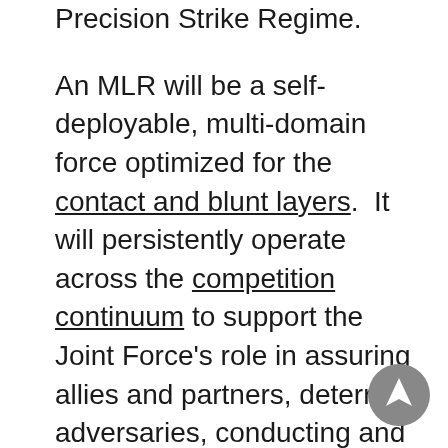Precision Strike Regime.

An MLR will be a self-deployable, multi-domain force optimized for the contact and blunt layers.  It will persistently operate across the competition continuum to support the Joint Force's role in assuring allies and partners, deterring adversaries, conducting and enabling Joint Force contact, blunt, and surge activities.